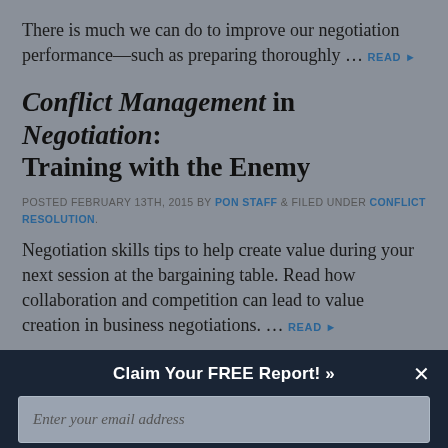There is much we can do to improve our negotiation performance—such as preparing thoroughly … READ ▶
Conflict Management in Negotiation: Training with the Enemy
POSTED FEBRUARY 13TH, 2015 BY PON STAFF & FILED UNDER CONFLICT RESOLUTION.
Negotiation skills tips to help create value during your next session at the bargaining table. Read how collaboration and competition can lead to value creation in business negotiations. … READ ▶
Claim Your FREE Report! »
Enter your email address
Get your free Teaching Negotiation report now »